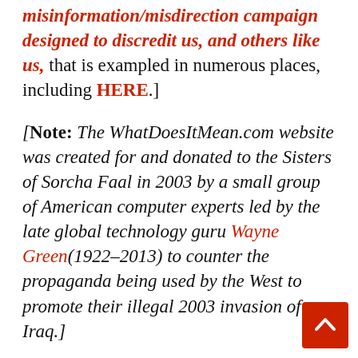misinformation/misdirection campaign designed to discredit us, and others like us, that is exampled in numerous places, including HERE.]
[Note: The WhatDoesItMean.com website was created for and donated to the Sisters of Sorcha Faal in 2003 by a small group of American computer experts led by the late global technology guru Wayne Green(1922–2013) to counter the propaganda being used by the West to promote their illegal 2003 invasion of Iraq.]
[Note: The word Kremlin (fortress inside a city) as used in this report refers to Russian citadels including in Moscow, having cathedrals where female Schema monks (Orthodox nuns) reside,